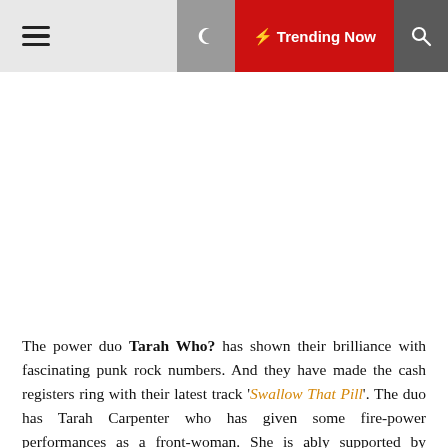☰  ☾  ⚡ Trending Now  🔍
The power duo Tarah Who? has shown their brilliance with fascinating punk rock numbers. And they have made the cash registers ring with their latest track 'Swallow That Pill'. The duo has Tarah Carpenter who has given some fire-power performances as a front-woman. She is ably supported by backing vocalist Coralie Hervé. They